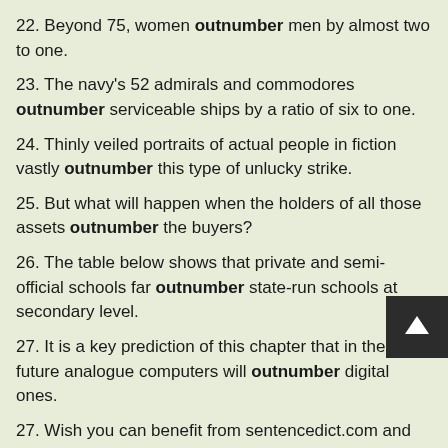22. Beyond 75, women outnumber men by almost two to one.
23. The navy's 52 admirals and commodores outnumber serviceable ships by a ratio of six to one.
24. Thinly veiled portraits of actual people in fiction vastly outnumber this type of unlucky strike.
25. But what will happen when the holders of all those assets outnumber the buyers?
26. The table below shows that private and semi-official schools far outnumber state-run schools at secondary level.
27. It is a key prediction of this chapter that in the future analogue computers will outnumber digital ones.
27. Wish you can benefit from sentencedict.com and make prog everyday!
28. According to a national survey of 50 salons, requests for red hair outnumber those for blond for the first time.
29. And by the fourth issue of Oz the plaudits were beginning to